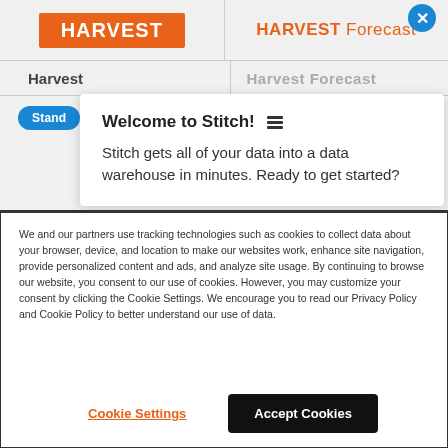[Figure (screenshot): Screenshot of a webpage showing Harvest and Harvest Forecast logos side by side, with a 'Welcome to Stitch!' popup overlay and partial buttons below]
We and our partners use tracking technologies such as cookies to collect data about your browser, device, and location to make our websites work, enhance site navigation, provide personalized content and ads, and analyze site usage. By continuing to browse our website, you consent to our use of cookies. However, you may customize your consent by clicking the Cookie Settings. We encourage you to read our Privacy Policy and Cookie Policy to better understand our use of data.
Cookie Settings
Accept Cookies